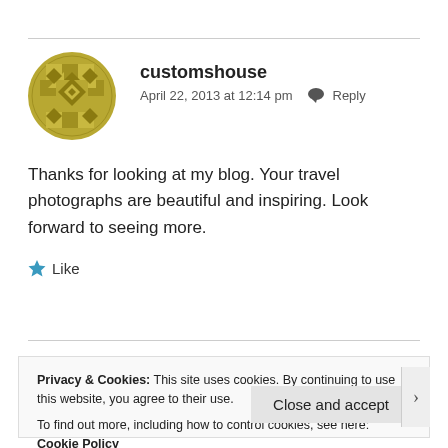[Figure (illustration): Circular avatar with a quilt-pattern design in olive/gold colors featuring diamond and cross shapes]
customshouse
April 22, 2013 at 12:14 pm  Reply
Thanks for looking at my blog. Your travel photographs are beautiful and inspiring. Look forward to seeing more.
Like
Privacy & Cookies: This site uses cookies. By continuing to use this website, you agree to their use.
To find out more, including how to control cookies, see here: Cookie Policy
Close and accept